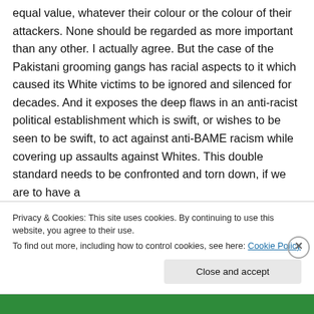equal value, whatever their colour or the colour of their attackers. None should be regarded as more important than any other. I actually agree. But the case of the Pakistani grooming gangs has racial aspects to it which caused its White victims to be ignored and silenced for decades. And it exposes the deep flaws in an anti-racist political establishment which is swift, or wishes to be seen to be swift, to act against anti-BAME racism while covering up assaults against Whites. This double standard needs to be confronted and torn down, if we are to have a
Privacy & Cookies: This site uses cookies. By continuing to use this website, you agree to their use.
To find out more, including how to control cookies, see here: Cookie Policy